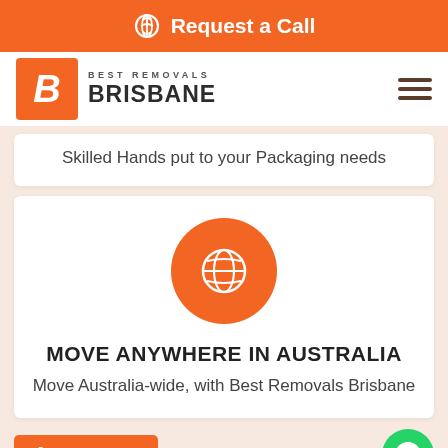Request a Call
[Figure (logo): Best Removals Brisbane logo with orange B icon and company name]
Skilled Hands put to your Packaging needs
[Figure (illustration): Orange circle with white globe/world icon]
MOVE ANYWHERE IN AUSTRALIA
Move Australia-wide, with Best Removals Brisbane
Call Now